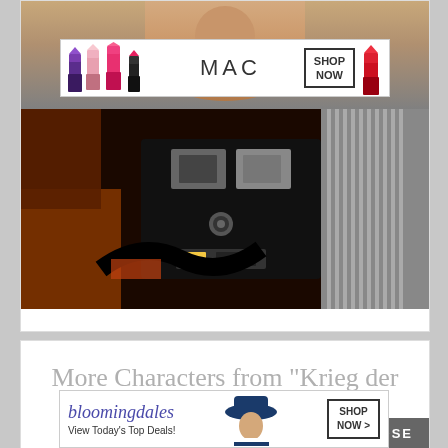[Figure (photo): MAC cosmetics advertisement banner showing colorful lipsticks (purple, pink, hot pink) on left side, MAC logo in center, SHOP NOW button in a box, and a red lipstick on the right]
[Figure (photo): Close-up photograph of camera equipment, predominantly dark/black tones with some orange and silver mechanical parts visible]
More Characters from "Krieg der Sterne"
[Figure (screenshot): CLOSE button overlay in dark gray]
[Figure (photo): Bloomingdales advertisement banner: bloomingdales logo in purple italic script, 'View Today's Top Deals!' tagline, a model in a blue hat, and SHOP NOW button]